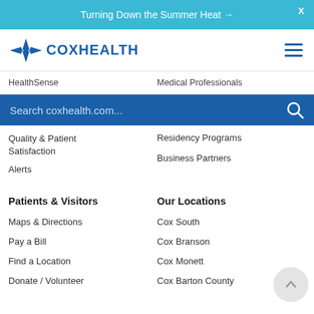Turning Down the Summer Heat →
[Figure (logo): CoxHealth logo with four-pointed star icon in blue]
HealthSense | Medical Professionals
Search coxhealth.com...
Quality & Patient Satisfaction
Residency Programs
Business Partners
Alerts
Patients & Visitors
Our Locations
Maps & Directions
Cox South
Pay a Bill
Cox Branson
Find a Location
Cox Monett
Donate / Volunteer
Cox Barton County